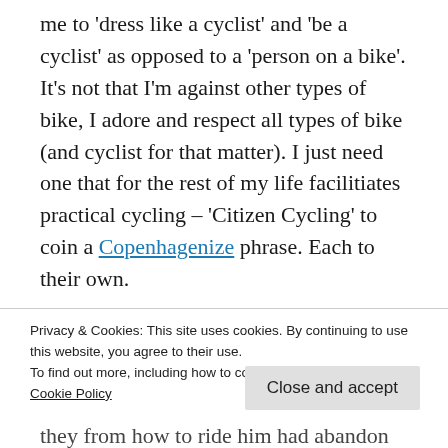me to 'dress like a cyclist' and 'be a cyclist' as opposed to a 'person on a bike'. It's not that I'm against other types of bike, I adore and respect all types of bike (and cyclist for that matter). I just need one that for the rest of my life facilitiates practical cycling – 'Citizen Cycling' to coin a Copenhagenize phrase. Each to their own.
I am selling my KHS Alite 3000 mountain bike to cover the cost (2010 barely used model if
Privacy & Cookies: This site uses cookies. By continuing to use this website, you agree to their use.
To find out more, including how to control cookies, see here:
Cookie Policy
Close and accept
they know how to ride him had abandon